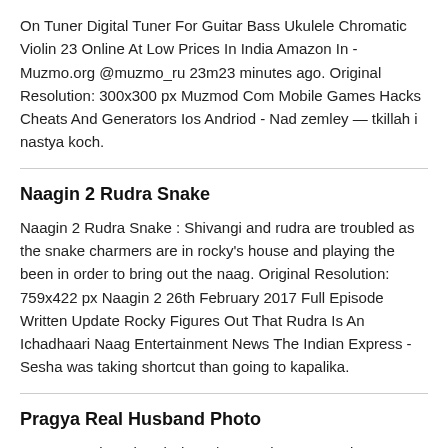On Tuner Digital Tuner For Guitar Bass Ukulele Chromatic Violin 23 Online At Low Prices In India Amazon In - Muzmo.org @muzmo_ru 23m23 minutes ago. Original Resolution: 300x300 px Muzmod Com Mobile Games Hacks Cheats And Generators Ios Andriod - Nad zemley — tkillah i nastya koch.
Naagin 2 Rudra Snake
Naagin 2 Rudra Snake : Shivangi and rudra are troubled as the snake charmers are in rocky's house and playing the been in order to bring out the naag. Original Resolution: 759x422 px Naagin 2 26th February 2017 Full Episode Written Update Rocky Figures Out That Rudra Is An Ichadhaari Naag Entertainment News The Indian Express - Sesha was taking shortcut than going to kapalika.
Pragya Real Husband Photo
Pragya Real Husband Photo / Recently, tanu mocks pragya (sriti jha) and requests her to submit her mangalsutra back...